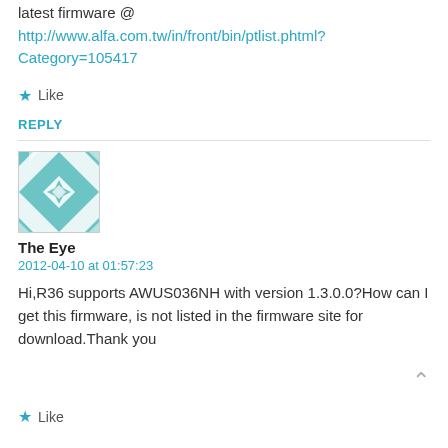latest firmware @ http://www.alfa.com.tw/in/front/bin/ptlist.phtml?Category=105417
★ Like
REPLY
[Figure (illustration): Decorative avatar image with geometric quilt-like pattern in teal and white]
The Eye
2012-04-10 at 01:57:23
Hi,R36 supports AWUS036NH with version 1.3.0.0?How can I get this firmware, is not listed in the firmware site for download.Thank you
★ Like